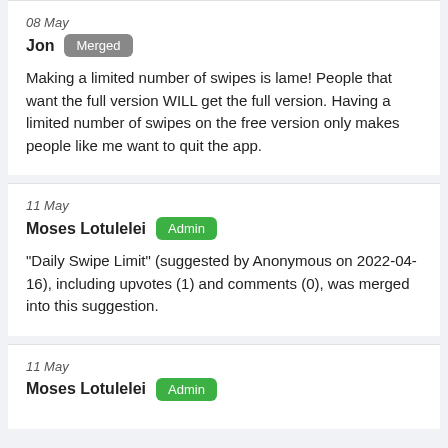08 May
Jon Merged
Making a limited number of swipes is lame! People that want the full version WILL get the full version. Having a limited number of swipes on the free version only makes people like me want to quit the app.
11 May
Moses Lotulelei Admin
"Daily Swipe Limit" (suggested by Anonymous on 2022-04-16), including upvotes (1) and comments (0), was merged into this suggestion.
11 May
Moses Lotulelei Admin